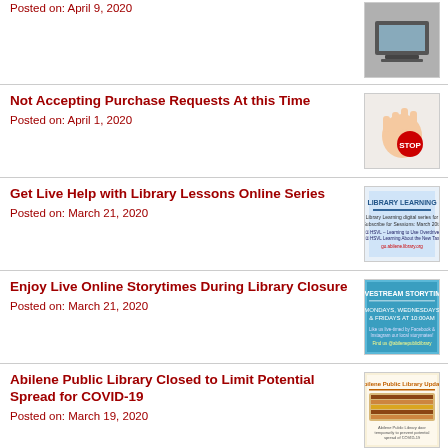Posted on: April 9, 2020
[Figure (photo): Laptop computer thumbnail]
Not Accepting Purchase Requests At this Time
Posted on: April 1, 2020
[Figure (photo): Hand with STOP sign thumbnail]
Get Live Help with Library Lessons Online Series
Posted on: March 21, 2020
[Figure (photo): Library Learning flyer thumbnail]
Enjoy Live Online Storytimes During Library Closure
Posted on: March 21, 2020
[Figure (photo): Livestream Storytime flyer thumbnail]
Abilene Public Library Closed to Limit Potential Spread for COVID-19
Posted on: March 19, 2020
[Figure (photo): Abilene Public Library Update flyer thumbnail]
Pre-Construction Happening at Future Abilene Heritage Square
Posted on: March 16, 2020
[Figure (photo): Accessibility symbol with construction site thumbnail]